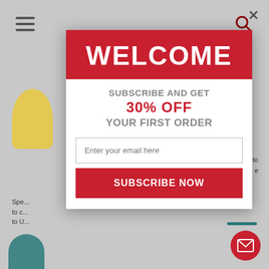[Figure (screenshot): Background website page visible behind modal popup, with hamburger menu icon, search icon, yellow figure illustration, teal figure illustration, and partial text]
WELCOME
SUBSCRIBE AND GET
30% OFF
YOUR FIRST ORDER
Enter your email here
SUBSCRIBE NOW